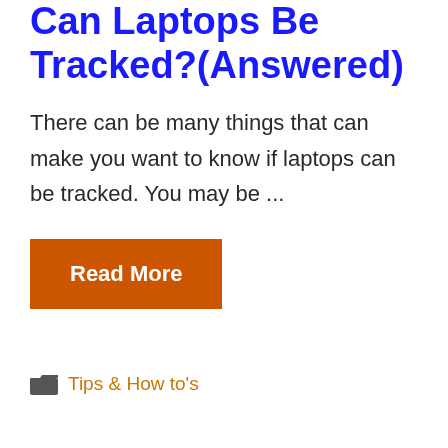Can Laptops Be Tracked?(Answered)
There can be many things that can make you want to know if laptops can be tracked. You may be ...
Read More
Tips & How to's